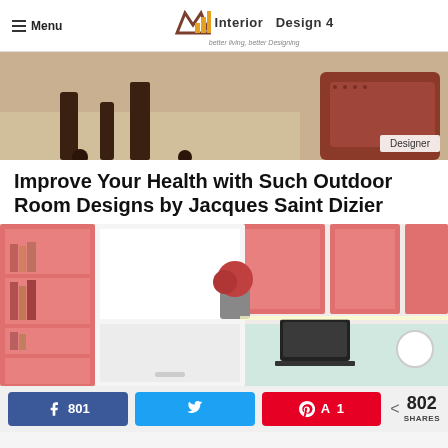Menu | Interior Design 4 — better living, better Designing
[Figure (photo): Hero photo of a luxury interior room with leather armchair and ornate furniture, with a 'Designer' badge overlay in the bottom right]
Improve Your Health with Such Outdoor Room Designs by Jacques Saint Dizier
[Figure (photo): Interior room design photo showing pink/coral and white modular cabinetry with a built-in desk, laptop, books, and a vase of red flowers]
801 (Facebook shares) | Twitter share | 1 (Pinterest) | < 802 SHARES